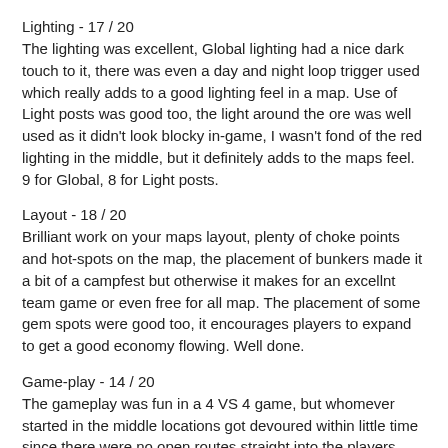Lighting - 17 / 20
The lighting was excellent, Global lighting had a nice dark touch to it, there was even a day and night loop trigger used which really adds to a good lighting feel in a map. Use of Light posts was good too, the light around the ore was well used as it didn't look blocky in-game, I wasn't fond of the red lighting in the middle, but it definitely adds to the maps feel. 9 for Global, 8 for Light posts.
Layout - 18 / 20
Brilliant work on your maps layout, plenty of choke points and hot-spots on the map, the placement of bunkers made it a bit of a campfest but otherwise it makes for an excellnt team game or even free for all map. The placement of some gem spots were good too, it encourages players to expand to get a good economy flowing. Well done.
Game-play - 14 / 20
The gameplay was fun in a 4 VS 4 game, but whomever started in the middle locations got devoured within little time since there were no open routes straight into the players bases at the edges of the map that didn't go straight through another players base. Other than that, it's another fun map which I would reccomend adding to your mods